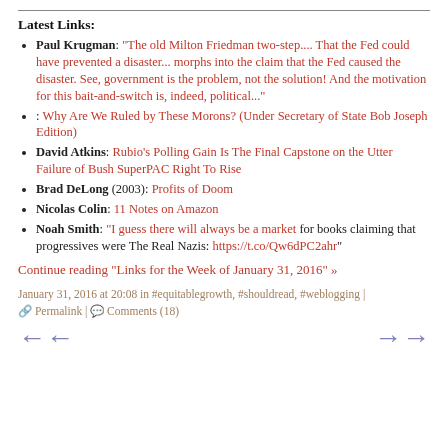Latest Links:
Paul Krugman: "The old Milton Friedman two-step.... That the Fed could have prevented a disaster... morphs into the claim that the Fed caused the disaster. See, government is the problem, not the solution! And the motivation for this bait-and-switch is, indeed, political..."
: Why Are We Ruled by These Morons? (Under Secretary of State Bob Joseph Edition)
David Atkins: Rubio's Polling Gain Is The Final Capstone on the Utter Failure of Bush SuperPAC Right To Rise
Brad DeLong (2003): Profits of Doom
Nicolas Colin: 11 Notes on Amazon
Noah Smith: "I guess there will always be a market for books claiming that progressives were The Real Nazis: https://t.co/Qw6dPC2ahr"
Continue reading "Links for the Week of January 31, 2016" »
January 31, 2016 at 20:08 in #equitablegrowth, #shouldread, #weblogging | Permalink | Comments (18)